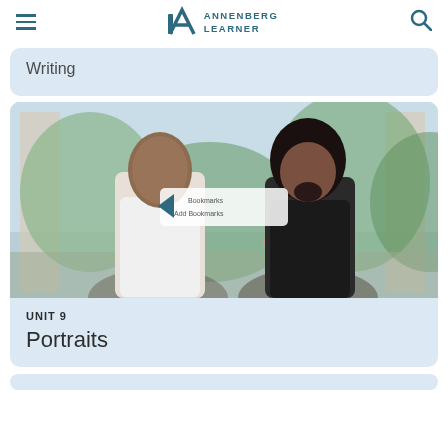Annenberg Learner
Writing
[Figure (photo): Two young Black men standing side by side against a painted floral garden backdrop. The man on the left wears a white tank top, the man on the right wears a black tank top with an afro hairstyle. A play button tooltip overlay appears in the center of the image.]
UNIT 9
Portraits